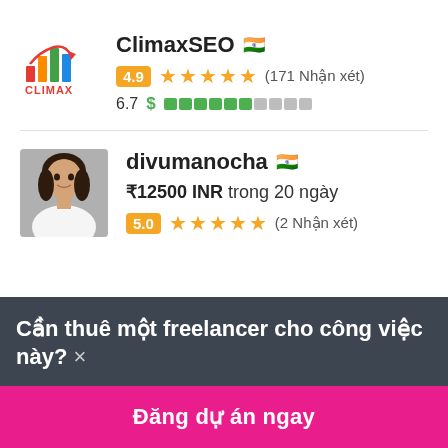[Figure (logo): Climax SEO logo with bar chart icon and CLIMAX text]
ClimaxSEO 🇮🇳
4.9 ★★★★★ (171 Nhận xét)
6.7 $ ████████░░░
[Figure (photo): Profile photo of divumanocha, a woman smiling]
divumanocha 🇮🇳
₹12500 INR trong 20 ngày
5.0 ★★★★★ (2 Nhận xét)
Cần thuê một freelancer cho công việc này? ×
Đăng dự án ngay